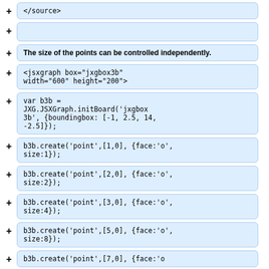+ </source>
+ (empty)
+ The size of the points can be controlled independently.
+ <jsxgraph box="jxgbox3b" width="600" height="200">
+ var b3b = JXG.JSXGraph.initBoard('jxgbox3b', {boundingbox: [-1, 2.5, 14, -2.5]});
+ b3b.create('point',[1,0], {face:'o', size:1});
+ b3b.create('point',[2,0], {face:'o', size:2});
+ b3b.create('point',[3,0], {face:'o', size:4});
+ b3b.create('point',[5,0], {face:'o', size:8});
+ b3b.create('point',[7,0], {face:'o', ...